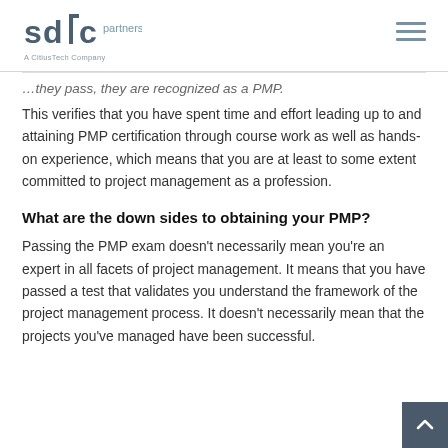sdlc partners — A CitiusTech Company
This verifies that you have spent time and effort leading up to and attaining PMP certification through course work as well as hands-on experience, which means that you are at least to some extent committed to project management as a profession.
What are the down sides to obtaining your PMP?
Passing the PMP exam doesn't necessarily mean you're an expert in all facets of project management. It means that you have passed a test that validates you understand the framework of the project management process. It doesn't necessarily mean that the projects you've managed have been successful. Moreover, obtaining the certification…